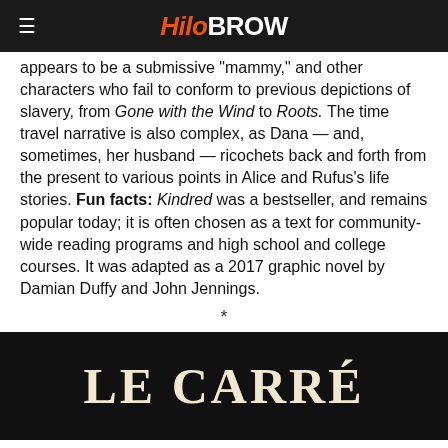HiloBrow
appears to be a submissive "mammy," and other characters who fail to conform to previous depictions of slavery, from Gone with the Wind to Roots. The time travel narrative is also complex, as Dana — and, sometimes, her husband — ricochets back and forth from the present to various points in Alice and Rufus's life stories. Fun facts: Kindred was a bestseller, and remains popular today; it is often chosen as a text for community-wide reading programs and high school and college courses. It was adapted as a 2017 graphic novel by Damian Duffy and John Jennings.
*
[Figure (photo): Book cover showing 'LE CARRÉ' text in large serif font on a dark/black background]